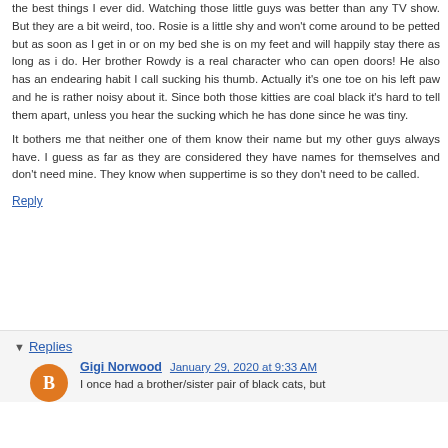the best things I ever did. Watching those little guys was better than any TV show. But they are a bit weird, too. Rosie is a little shy and won't come around to be petted but as soon as I get in or on my bed she is on my feet and will happily stay there as long as i do. Her brother Rowdy is a real character who can open doors! He also has an endearing habit I call sucking his thumb. Actually it's one toe on his left paw and he is rather noisy about it. Since both those kitties are coal black it's hard to tell them apart, unless you hear the sucking which he has done since he was tiny. It bothers me that neither one of them know their name but my other guys always have. I guess as far as they are considered they have names for themselves and don't need mine. They know when suppertime is so they don't need to be called.
Reply
Replies
Gigi Norwood  January 29, 2020 at 9:33 AM
I once had a brother/sister pair of black cats, but